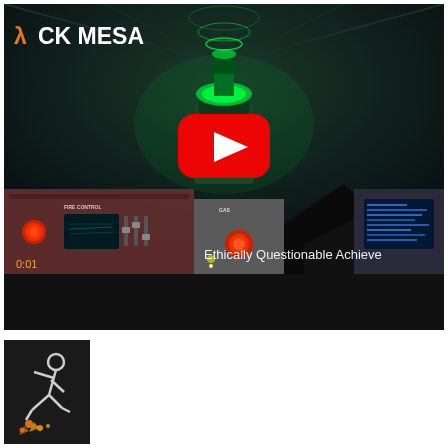[Figure (screenshot): YouTube video thumbnail showing a Black Mesa (video game) screenshot. The game scene shows a first-person view with a glowing green device/beacon emitting circular waves, control panels with red buttons labeled 'FIRE CONTROL' and 'GAS', and a YouTube play button overlay in the center. The 'λCK MESA' logo appears in the upper left with an orange lambda symbol. Text 'Ethically Questionable Achieve' is visible at the bottom right of the scene. A timer reading '0:01' is visible at the bottom left.]
[Figure (screenshot): Small black icon box showing a white stick figure running with orange spark/explosion effects beneath them, resembling a Steam achievement or game badge icon.]